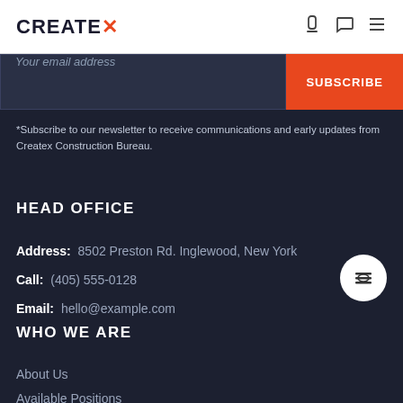CREATEX (logo) with navigation icons
Your email address
SUBSCRIBE
*Subscribe to our newsletter to receive communications and early updates from Createx Construction Bureau.
HEAD OFFICE
Address:  8502 Preston Rd. Inglewood, New York
Call:  (405) 555-0128
Email:  hello@example.com
WHO WE ARE
About Us
Available Positions